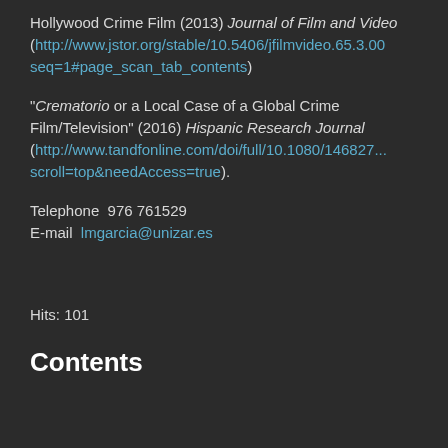Hollywood Crime Film (2013) Journal of Film and Video (http://www.jstor.org/stable/10.5406/jfilmvideo.65.3.00 seq=1#page_scan_tab_contents)
"Crematorio or a Local Case of a Global Crime Film/Television" (2016) Hispanic Research Journal (http://www.tandfonline.com/doi/full/10.1080/146827... scroll=top&needAccess=true).
Telephone  976 761529
E-mail  lmgarcia@unizar.es
Hits: 101
Contents